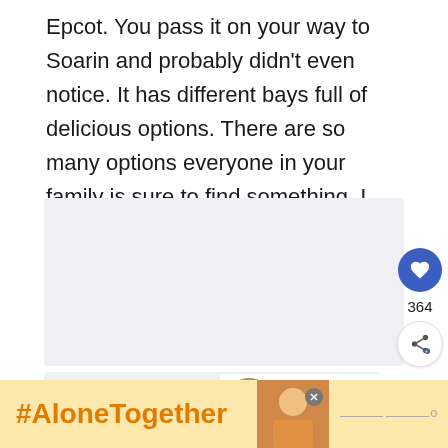Epcot. You pass it on your way to Soarin and probably didn't even notice. It has different bays full of delicious options. There are so many options everyone in your family is sure to find something. I really love getting the roasted chicken or sustainable fish from here.
[Figure (photo): Large image placeholder area with light gray background]
[Figure (infographic): Social interaction panel with heart/like button showing 364 likes and a share button]
[Figure (photo): Second image placeholder area with light gray background]
WHAT'S NEXT → Best Things to Eat at the...
#AloneTogether